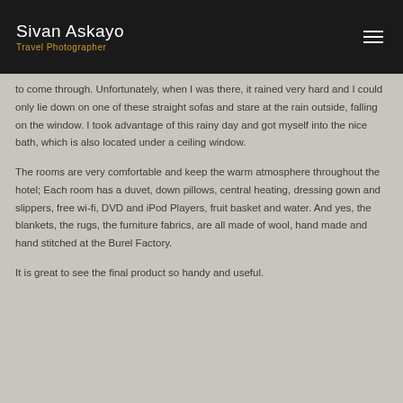Sivan Askayo
Travel Photographer
to come through. Unfortunately, when I was there, it rained very hard and I could only lie down on one of these straight sofas and stare at the rain outside, falling on the window. I took advantage of this rainy day and got myself into the nice bath, which is also located under a ceiling window.
The rooms are very comfortable and keep the warm atmosphere throughout the hotel; Each room has a duvet, down pillows, central heating, dressing gown and slippers, free wi-fi, DVD and iPod Players, fruit basket and water. And yes, the blankets, the rugs, the furniture fabrics, are all made of wool, hand made and hand stitched at the Burel Factory.
It is great to see the final product so handy and useful.